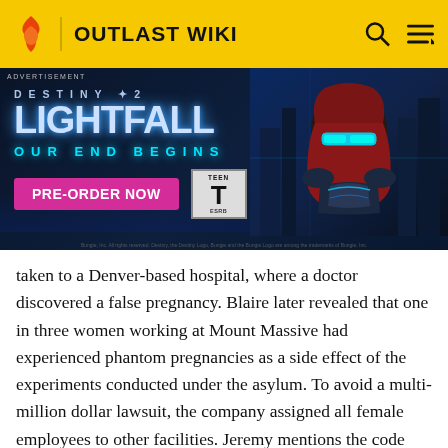OUTLAST WIKI
[Figure (illustration): Destiny 2 Lightfall advertisement banner. Dark blue background with large stylized 'LIGHTFALL' text, 'OUR END BEGINS' cyan subtitle, pink 'PRE-ORDER NOW' button, ESRB Teen rating box, and a cyberpunk armored character on the right side.]
taken to a Denver-based hospital, where a doctor discovered a false pregnancy. Blaire later revealed that one in three women working at Mount Massive had experienced phantom pregnancies as a side effect of the experiments conducted under the asylum. To avoid a multi-million dollar lawsuit, the company assigned all female employees to other facilities. Jeremy mentions the code "eskimo reuben", prompting Paul to exit his office, as Blaire displays projected profits for Project Walrider to